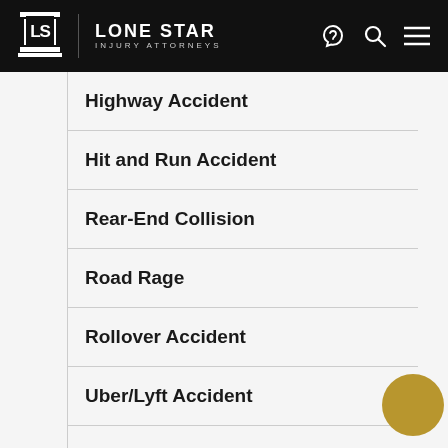LONE STAR INJURY ATTORNEYS
Highway Accident
Hit and Run Accident
Rear-End Collision
Road Rage
Rollover Accident
Uber/Lyft Accident
Liability
Settling a Case